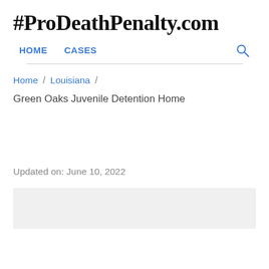#ProDeathPenalty.com
HOME   CASES
Home / Louisiana /
Green Oaks Juvenile Detention Home
Updated on: June 10, 2022
[Figure (other): Gray placeholder image block at bottom of page]